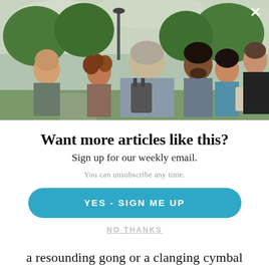[Figure (photo): Group of people talking outdoors in a park setting, with trees in the background. Six people visible in conversation.]
Want more articles like this?
Sign up for our weekly email.
You can unsubscribe any time.
YES - SIGN ME UP
NO THANKS
a resounding gong or a clanging cymbal